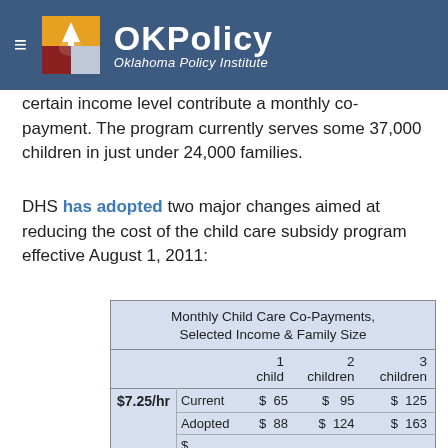OKPolicy Oklahoma Policy Institute
certain income level contribute a monthly co-payment. The program currently serves some 37,000 children in just under 24,000 families.
DHS has adopted two major changes aimed at reducing the cost of the child care subsidy program effective August 1, 2011:
|  |  | 1 child | 2 children | 3 children |
| --- | --- | --- | --- | --- |
| $7.25/hr | Current | $ 65 | $ 95 | $ 125 |
|  | Adopted | $ 88 | $ 124 | $ 163 |
|  | $ Increase | $ 23 | $ 29 | $ 38 |
|  | % Increase | 35% | 31% | 30% |
| $9.50/hr | Current | $ 120 | $ 162 | $ 192 |